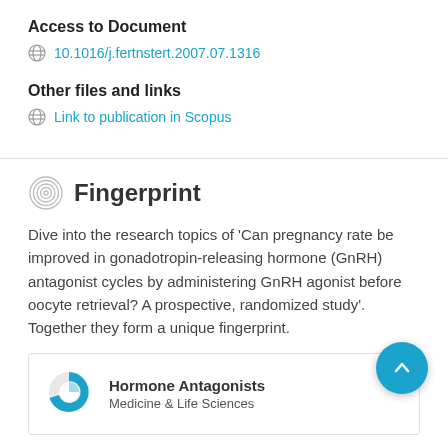Access to Document
10.1016/j.fertnstert.2007.07.1316
Other files and links
Link to publication in Scopus
Fingerprint
Dive into the research topics of 'Can pregnancy rate be improved in gonadotropin-releasing hormone (GnRH) antagonist cycles by administering GnRH agonist before oocyte retrieval? A prospective, randomized study'. Together they form a unique fingerprint.
Hormone Antagonists
Medicine & Life Sciences